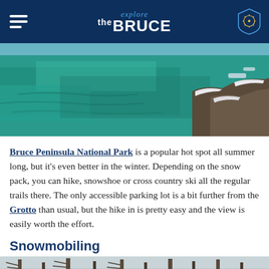explore the BRUCE
[Figure (photo): Aerial view of Bruce Peninsula National Park in winter showing turquoise water with rocky snow-covered shoreline]
Bruce Peninsula National Park is a popular hot spot all summer long, but it’s even better in the winter. Depending on the snow pack, you can hike, snowshoe or cross country ski all the regular trails there. The only accessible parking lot is a bit further from the Grotto than usual, but the hike in is pretty easy and the view is easily worth the effort.
Snowmobiling
[Figure (photo): Winter forest trail scene, partially visible at bottom of page]